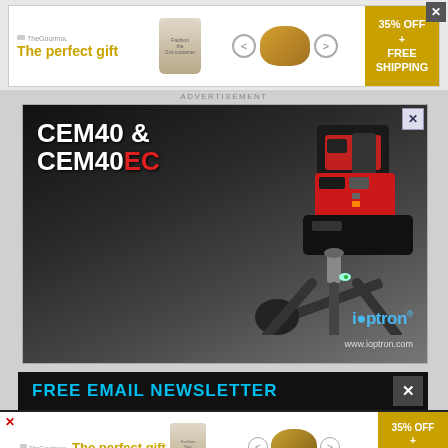[Figure (infographic): Top banner advertisement: 'The perfect gift' with food/gift imagery, navigation arrows, bowl of food, and '35% OFF + FREE SHIPPING' gold box]
ADVERTISEMENT
[Figure (photo): iOptron CEM40 & CEM40EC telescope mount advertisement. Large black and red equatorial mount on tripod against dark background. White text 'CEM40 & CEM40EC' with EC in red. iOptron logo and www.ioptron.com URL in bottom right.]
FREE EMAIL NEWSLETTER
[Figure (infographic): Bottom banner advertisement repeat: 'The perfect gift' with food images and '35% OFF + FREE SHIPPING' gold box, with X close button]